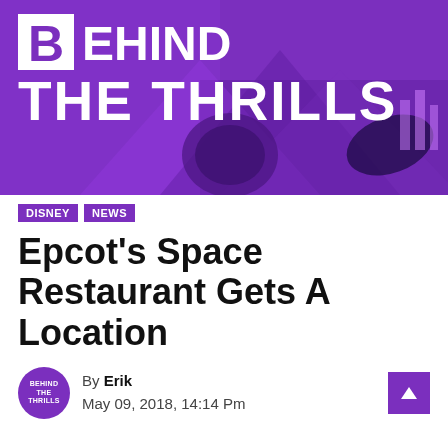[Figure (logo): Behind The Thrills website header banner with purple background and collage of theme park images. Large white logo text reads BEHIND THE THRILLS.]
DISNEY   NEWS
Epcot's Space Restaurant Gets A Location
By Erik
May 09, 2018, 14:14 Pm